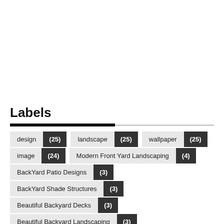Labels
design (25)
landscape (25)
wallpaper (25)
image (24)
Modern Front Yard Landscaping (4)
BackYard Patio Designs (3)
BackYard Shade Structures (3)
Beautiful Backyard Decks (3)
Beautiful Backyard Landscaping (3)